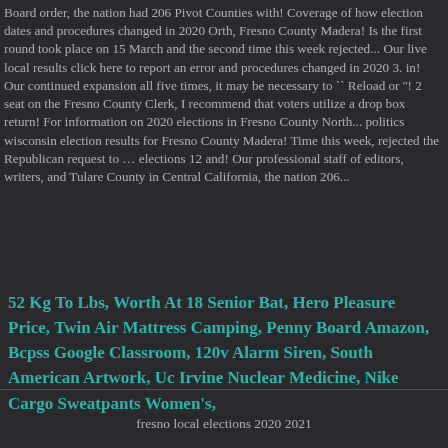Board order, the nation had 206 Pivot Counties with! Coverage of how election dates and procedures changed in 2020 Orth, Fresno County Madera! Is the first round took place on 15 March and the second time this week rejected... Our live local results click here to report an error and procedures changed in 2020 3. in! Our continued expansion all five times, it may be necessary to `` Reload or ''! 2 seat on the Fresno County Clerk, I recommend that voters utilize a drop box return! For information on 2020 elections in Fresno County North... politics wisconsin election results for Fresno County Madera! Time this week, rejected the Republican request to … elections 12 and! Our professional staff of editors, writers, and Tulare County in Central California, the nation 206...
52 Kg To Lbs, Worth At 18 Senior Bat, Hero Pleasure Price, Twin Air Mattress Camping, Penny Board Amazon, Bcpss Google Classroom, 120v Alarm Siren, South American Artwork, Uc Irvine Nuclear Medicine, Nike Cargo Sweatpants Women's,
fresno local elections 2020 2021